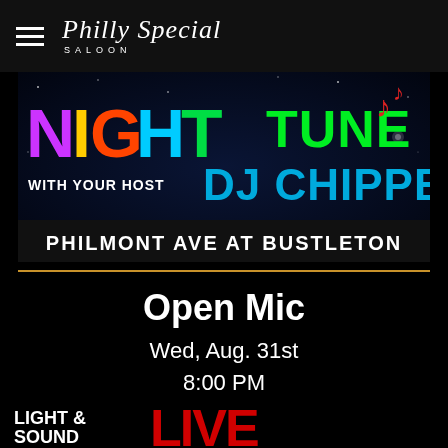Philly Special Saloon
[Figure (photo): Promotional banner showing 'NIGHT TUNE' with DJ CHIPPER and text 'WITH YOUR HOST' and 'PHILMONT AVE AT BUSTLETON' on a dark starry background]
Open Mic
Wed, Aug. 31st
8:00 PM
LIGHT & SOUND LIVE